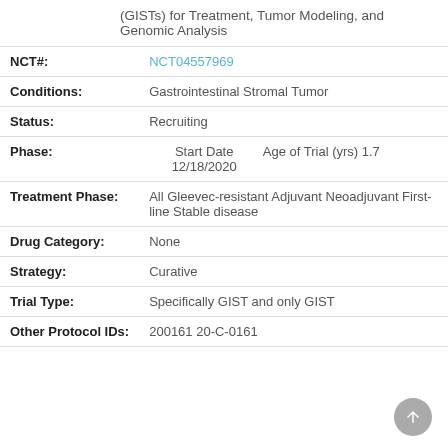(GISTs) for Treatment, Tumor Modeling, and Genomic Analysis
| Field | Value |
| --- | --- |
| NCT#: | NCT04557969 |
| Conditions: | Gastrointestinal Stromal Tumor |
| Status: | Recruiting |
| Phase: | Start Date 12/18/2020   Age of Trial (yrs) 1.7 |
| Treatment Phase: | All Gleevec-resistant Adjuvant Neoadjuvant First-line Stable disease |
| Drug Category: | None |
| Strategy: | Curative |
| Trial Type: | Specifically GIST and only GIST |
| Other Protocol IDs: | 200161 20-C-0161 |